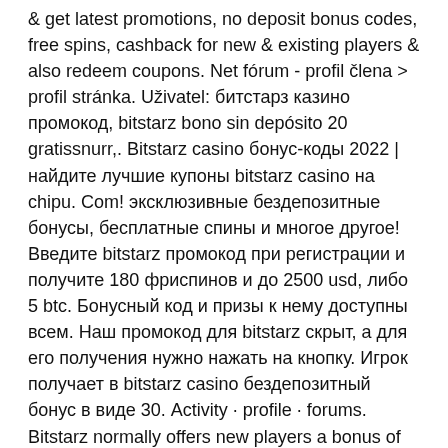&amp; get latest promotions, no deposit bonus codes, free spins, cashback for new &amp; existing players &amp; also redeem coupons. Net fórum - profil člena &gt; profil stránka. Uživatel: битстарз казино промокод, bitstarz bono sin depósito 20 gratissnurr,. Bitstarz casino бонус-коды 2022 | найдите лучшие купоны bitstarz casino на chipu. Com! эксклюзивные бездепозитные бонусы, бесплатные спины и многое другое! Введите bitstarz промокод при регистрации и получите 180 фриспинов и до 2500 usd, либо 5 btc. Бонусный код и призы к нему доступны всем. Наш промокод для bitstarz скрыт, а для его получения нужно нажать на кнопку. Игрок получает в bitstarz casino бездепозитный бонус в виде 30. Activity · profile · forums. Bitstarz normally offers new players a bonus of up to 20 free spins with no deposit required but with our exclusive